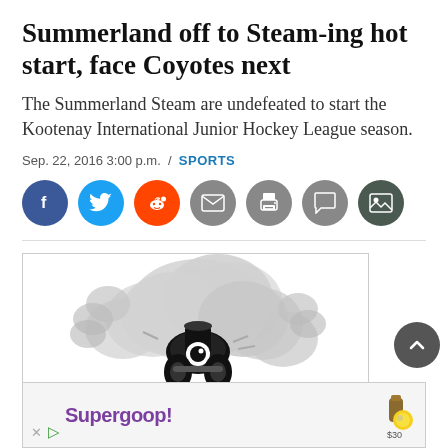Summerland off to Steam-ing hot start, face Coyotes next
The Summerland Steam are undefeated to start the Kootenay International Junior Hockey League season.
Sep. 22, 2016 3:00 p.m. / SPORTS
[Figure (other): Row of social sharing icon buttons: Facebook (blue), Twitter (blue), Reddit (orange), Email (grey), Print (grey), Comment (grey), Gallery (dark grey)]
[Figure (illustration): Cartoon illustration of a steam engine or kettle character blowing steam clouds, in black and white/grey tones]
[Figure (other): Advertisement banner for Supergoop! with logo text and product image, price $30]